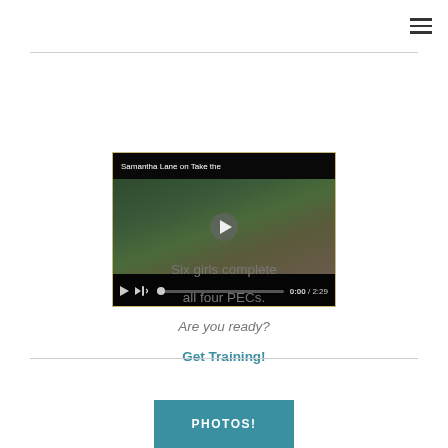☰
[Figure (screenshot): Embedded video player showing 'Samantha Lane on Take the...' with a woman running, play button overlay, progress bar at 0:00/2:29]
Six girls complete all four PECs. Are you ready? Get Training!